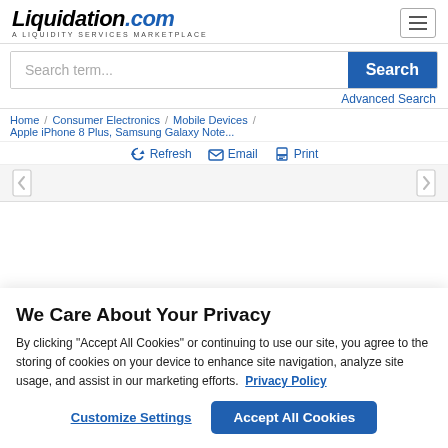Liquidation.com — A LIQUIDITY SERVICES MARKETPLACE
Search term...
Search
Advanced Search
Home / Consumer Electronics / Mobile Devices / Apple iPhone 8 Plus, Samsung Galaxy Note...
Refresh  Email  Print
We Care About Your Privacy
By clicking “Accept All Cookies” or continuing to use our site, you agree to the storing of cookies on your device to enhance site navigation, analyze site usage, and assist in our marketing efforts.  Privacy Policy
Customize Settings
Accept All Cookies